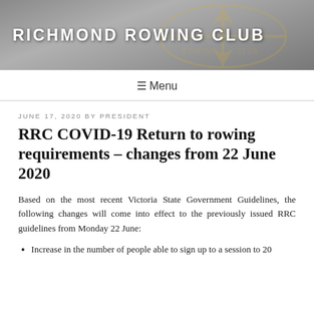RICHMOND ROWING CLUB
≡ Menu
JUNE 17, 2020 BY PRESIDENT
RRC COVID-19 Return to rowing requirements – changes from 22 June 2020
Based on the most recent Victoria State Government Guidelines, the following changes will come into effect to the previously issued RRC guidelines from Monday 22 June:
Increase in the number of people able to sign up to a session to 20